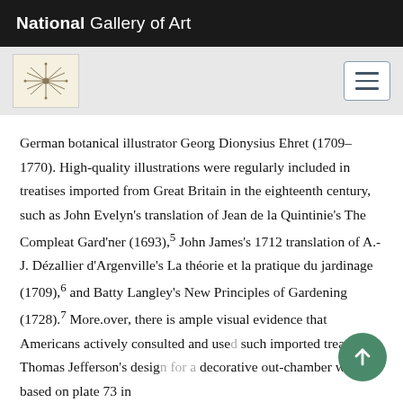National Gallery of Art
[Figure (logo): National Gallery of Art decorative logo/seal in beige box]
German botanical illustrator Georg Dionysius Ehret (1709–1770). High-quality illustrations were regularly included in treatises imported from Great Britain in the eighteenth century, such as John Evelyn's translation of Jean de la Quintinie's The Compleat Gard'ner (1693),5 John James's 1712 translation of A.-J. Dézallier d'Argenville's La théorie et la pratique du jardinage (1709),6 and Batty Langley's New Principles of Gardening (1728).7 More.over, there is ample visual evidence that Americans actively consulted and used such imported treatises. Thomas Jefferson's design for a decorative out-chamber was based on plate 73 in